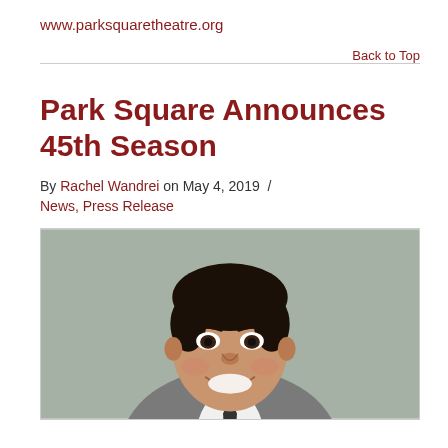www.parksquaretheatre.org
Back to Top
Park Square Announces 45th Season
By Rachel Wandrei on May 4, 2019  /  News, Press Release
[Figure (photo): Headshot of a smiling man wearing a grey suit jacket and dark tie, with dark short hair, against a blurred background.]